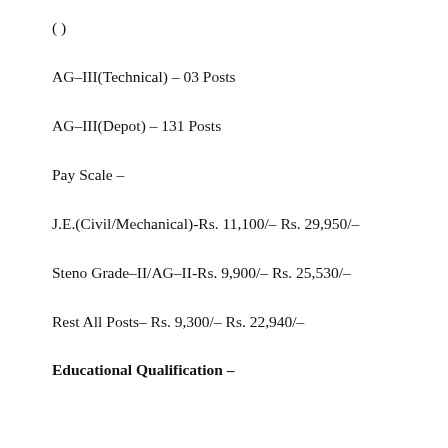AG-III(Technical) – 03 Posts
AG-III(Depot) – 131 Posts
Pay Scale –
J.E.(Civil/Mechanical)-Rs. 11,100/– Rs. 29,950/–
Steno Grade-II/AG-II-Rs. 9,900/– Rs. 25,530/–
Rest All Posts- Rs. 9,300/– Rs. 22,940/–
Educational Qualification –